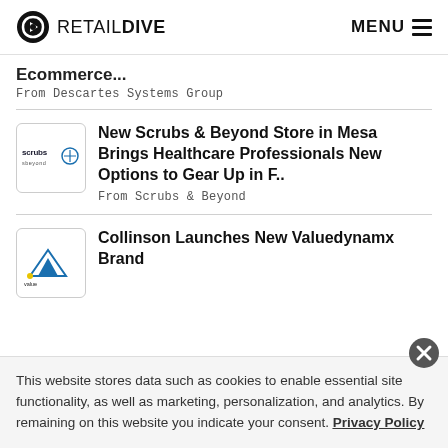RETAIL DIVE  MENU
Ecommerce...
From Descartes Systems Group
[Figure (logo): Scrubs & Beyond logo]
New Scrubs & Beyond Store in Mesa Brings Healthcare Professionals New Options to Gear Up in F..
From Scrubs & Beyond
[Figure (logo): Value Dynamx logo]
Collinson Launches New Valuedynamx Brand
This website stores data such as cookies to enable essential site functionality, as well as marketing, personalization, and analytics. By remaining on this website you indicate your consent. Privacy Policy